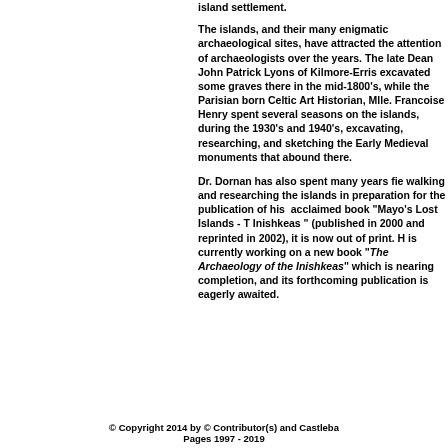island settlement.
The islands, and their many enigmatic archaeological sites, have attracted the attention of archaeologists over the years. The late Dean John Patrick Lyons of Kilmore-Erris excavated some graves there in the mid-1800's, while the Parisian born Celtic Art Historian, Mlle. Francoise Henry spent several seasons on the islands, during the 1930's and 1940's, excavating, researching, and sketching the Early Medieval monuments that abound there.
Dr. Dornan has also spent many years fieldwalking and researching the islands in preparation for the publication of his acclaimed book "Mayo's Lost Islands - The Inishkeas " (published in 2000 and reprinted in 2002), it is now out of print. He is currently working on a new book "The Archaeology of the Inishkeas" which is nearing completion, and its forthcoming publication is eagerly awaited.
© Copyright 2014 by © Contributor(s) and Castleba... Pages 1997 - 2019